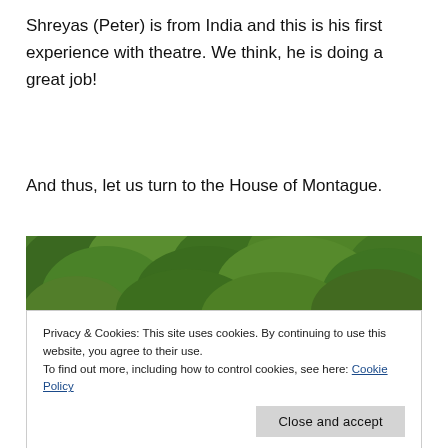Shreyas (Peter) is from India and this is his first experience with theatre. We think, he is doing a great job!
And thus, let us turn to the House of Montague.
[Figure (photo): Group photo of people wearing blue and dark hats peeking above a lush green tree/bush background. Multiple people visible from the mid-face up, wearing various blue and black caps/berets.]
Privacy & Cookies: This site uses cookies. By continuing to use this website, you agree to their use.
To find out more, including how to control cookies, see here: Cookie Policy
[Figure (photo): Bottom portion of another outdoor group photo partially visible.]